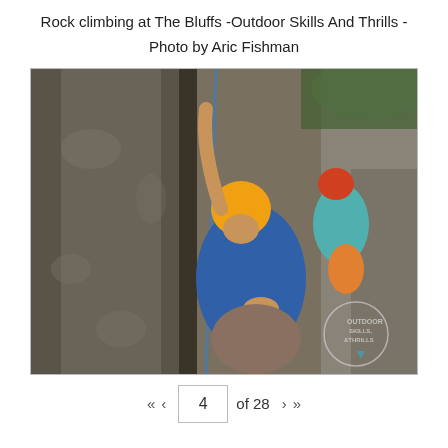Rock climbing at The Bluffs -Outdoor Skills And Thrills -
Photo by Aric Fishman
[Figure (photo): Two rock climbers scaling a rock face at The Bluffs. The foreground climber wears a yellow helmet and blue long-sleeve shirt, gripping the rock. A second climber in the background wears a red helmet and teal top. A blue rope is visible. An 'Outdoor Skills & Thrills' logo watermark appears in the lower right corner.]
« ‹  4  of 28  › »